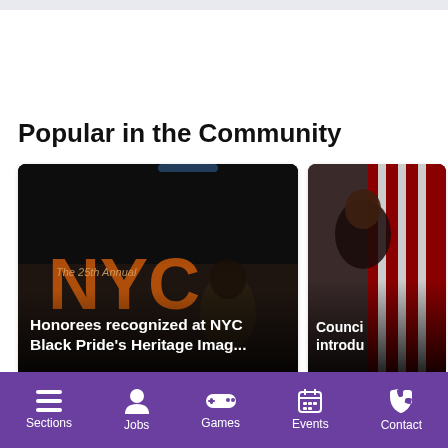Popular in the Community
[Figure (screenshot): News article card: 'Honorees recognized at NYC Black Pride's Heritage Imag...' with user Kimya · 2d and snippet 'Please provide the singers name']
[Figure (screenshot): Partial news article card: 'Council... introdu...' with user d · and snippet 'If all of t']
Sections  Jobs  Games  Events  Contact